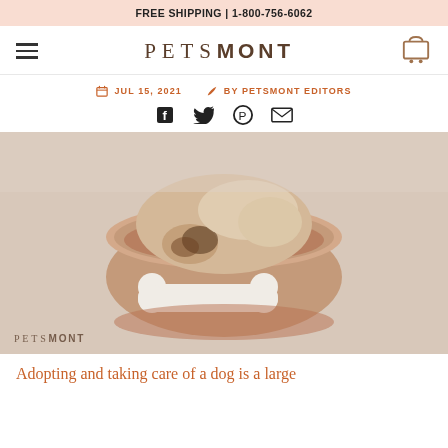FREE SHIPPING | 1-800-756-6062
PETSMONT
JUL 15, 2021   BY PETSMONT EDITORS
[Figure (photo): A puppy curled up sleeping inside a pink/terracotta ceramic dog bowl, with a white bone-shaped toy in front. Petsmont watermark visible at bottom left.]
Adopting and taking care of a dog is a large